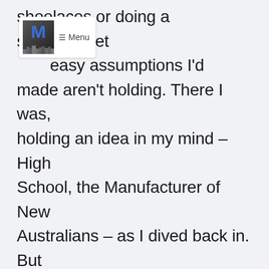[Figure (screenshot): Website navigation bar with letter M logo icon over cityscape background and hamburger Menu button]
shoelaces or doing a supermarket easy assumptions I'd made aren't holding. There I was, holding an idea in my mind – High School, the Manufacturer of New Australians – as I dived back in. But Middlevale didn't feel like a melting pot, exactly. For all the play and banter, there were real tensions sitting alongside – undercurrents of race, religion, and the question of whether to be traditionalist or modern. The advice prescribed in such situations – embrace diversity, let's just all get along...